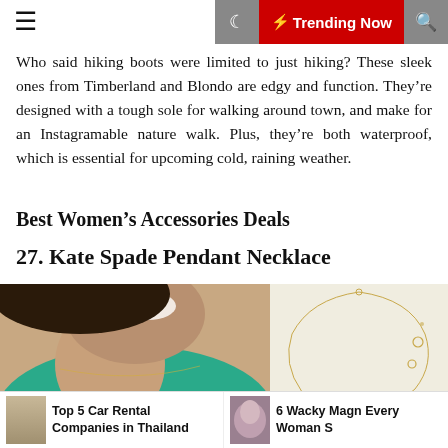☰  🌙  ⚡ Trending Now  🔍
Who said hiking boots were limited to just hiking? These sleek ones from Timberland and Blondo are edgy and function. They're designed with a tough sole for walking around town, and make for an Instagramable nature walk. Plus, they're both waterproof, which is essential for upcoming cold, raining weather.
Best Women's Accessories Deals
27. Kate Spade Pendant Necklace
[Figure (photo): Woman wearing a teal/green top with a delicate gold necklace, smiling, cropped at chin level]
[Figure (photo): Kate Spade pendant necklace on white/cream background]
Top 5 Car Rental Companies in Thailand
6 Wacky Magn Every Woman S